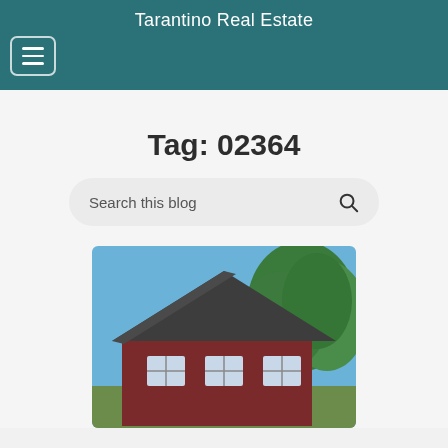Tarantino Real Estate
Tag: 02364
Search this blog
[Figure (photo): Exterior photograph of a red Cape Cod style house with a dark shingled roof, white trim windows, and large green trees in the background under a blue sky.]